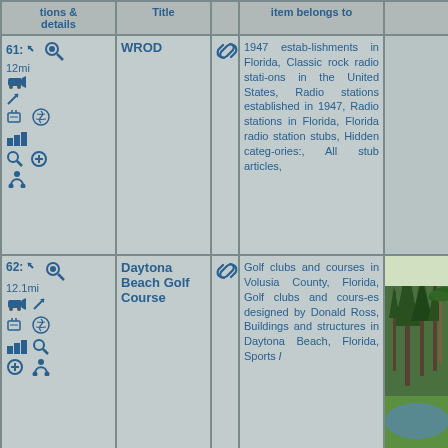| tions & details | Title |  | item belongs to |  |
| --- | --- | --- | --- | --- |
| 61: 12mi [icons] | WROD | [link] | 1947 establishments in Florida, Classic rock radio stations in the United States, Radio stations established in 1947, Radio stations in Florida, Florida radio station stubs, Hidden categories:, All stub articles, |  |
| 62: 12.1mi [icons] | Daytona Beach Golf Course | [link] | Golf clubs and courses in Volusia County, Florida, Golf clubs and courses designed by Donald Ross, Buildings and structures in Daytona Beach, Florida, Sports locations in Daytona Beach, Florida | [photo] |